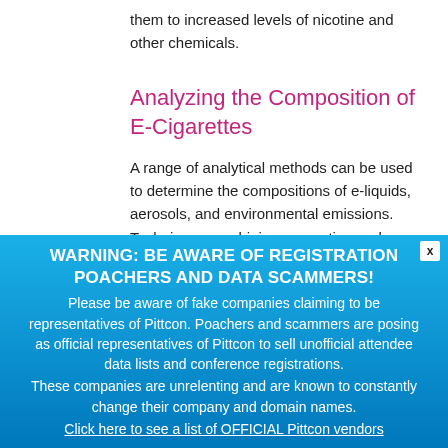them to increased levels of nicotine and other chemicals.
Analyzing the Composition of E-Cigarettes
A range of analytical methods can be used to determine the compositions of e-liquids, aerosols, and environmental emissions. Techniques combining separation and
WARNING: BE AWARE OF REGISTRATION POACHERS AND DATA SCAMMERS! Please be aware of fake companies claiming to be representatives of Pittcon. Poachers and scammers are posing as official representatives of Pittcon to sell unofficial attendee data lists and conference registrations. These companies are unrelenting and are known to constantly change their company and domain names. Click here to see a list of OFFICIAL Pittcon vendors